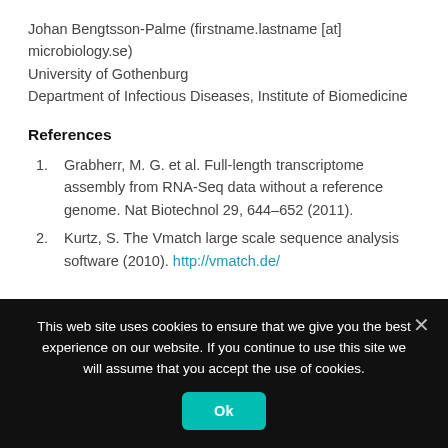Johan Bengtsson-Palme (firstname.lastname [at] microbiology.se)
University of Gothenburg
Department of Infectious Diseases, Institute of Biomedicine
References
Grabherr, M. G. et al. Full-length transcriptome assembly from RNA-Seq data without a reference genome. Nat Biotechnol 29, 644–652 (2011).
Kurtz, S. The Vmatch large scale sequence analysis software (2010). http://vmatch.de/
This web site uses cookies to ensure that we give you the best experience on our website. If you continue to use this site we will assume that you accept the use of cookies.